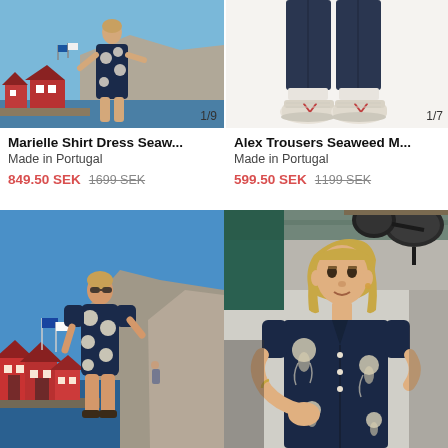[Figure (photo): Product image of Marielle Shirt Dress Seaweed on a woman outdoors in a coastal setting with blue sky and red boathouses. Carousel counter shows 1/9.]
Marielle Shirt Dress Seaw...
Made in Portugal
849.50 SEK  1699 SEK
[Figure (photo): Product image of Alex Trousers Seaweed with close-up of legs and sneakers (Veja brand). Carousel counter shows 1/7.]
Alex Trousers Seaweed M...
Made in Portugal
599.50 SEK  1199 SEK
[Figure (photo): Woman wearing navy blue dress with circular mushroom/jellyfish print pattern, standing in coastal harbor area with blue sky, rocks, and red boathouses behind her.]
[Figure (photo): Woman wearing navy blue short-sleeve button-up shirt with mushroom/jellyfish print pattern, standing in a kitchen with pots and pans visible overhead.]